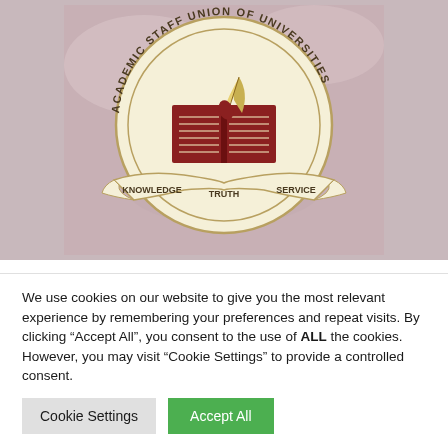[Figure (logo): Academic Staff Union of Universities (ASUU) circular logo/seal featuring an open book with a quill/feather pen, the words 'ACADEMIC STAFF UNION OF UNIVERSITIES' around the top, and a banner at the bottom reading 'KNOWLEDGE', 'TRUTH', 'SERVICE'. Background is a muted rose/mauve colour.]
Poor Allocation to Education Sector –
We use cookies on our website to give you the most relevant experience by remembering your preferences and repeat visits. By clicking "Accept All", you consent to the use of ALL the cookies. However, you may visit "Cookie Settings" to provide a controlled consent.